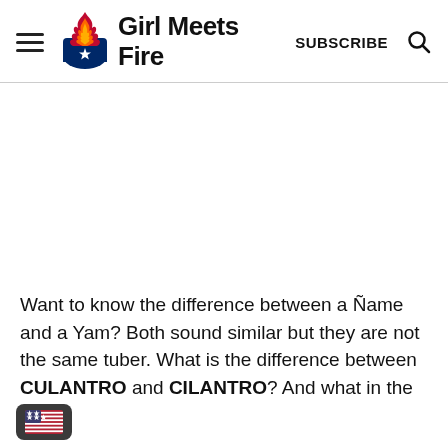Girl Meets Fire — SUBSCRIBE
[Figure (illustration): Girl Meets Fire logo: flame with red, white, and blue shield with star]
Want to know the difference between a Ñame and a Yam?  Both sound similar but they are not the same tuber.  What is the difference between CULANTRO and CILANTRO? And what in the world is Pana, or Guanabana?  To find out these
[Figure (illustration): US flag badge in bottom left corner]